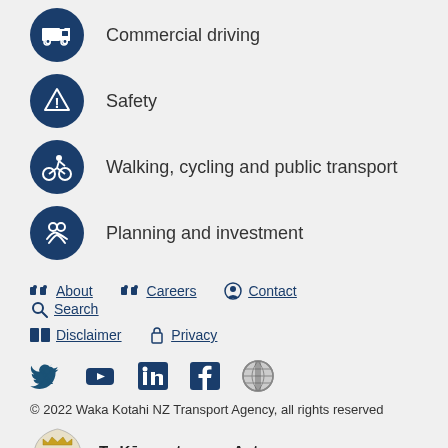Commercial driving
Safety
Walking, cycling and public transport
Planning and investment
About   Careers   Contact   Search   Disclaimer   Privacy
[Figure (illustration): Social media icons: Twitter, YouTube, LinkedIn, Facebook, and one additional icon]
© 2022 Waka Kotahi NZ Transport Agency, all rights reserved
[Figure (logo): New Zealand Government coat of arms logo with text Te Kāwanatanga o Aotearoa / New Zealand Government]